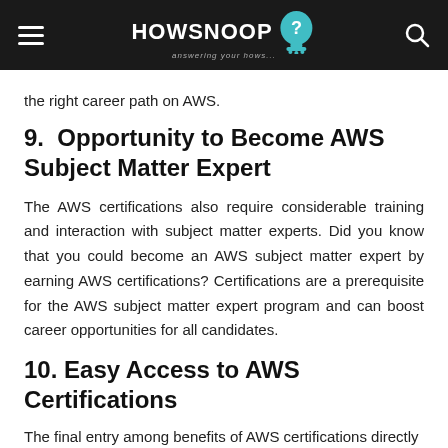HOWSNOOP — answering your hows...
the right career path on AWS.
9.  Opportunity to Become AWS Subject Matter Expert
The AWS certifications also require considerable training and interaction with subject matter experts. Did you know that you could become an AWS subject matter expert by earning AWS certifications? Certifications are a prerequisite for the AWS subject matter expert program and can boost career opportunities for all candidates.
10. Easy Access to AWS Certifications
The final entry among benefits of AWS certifications directly